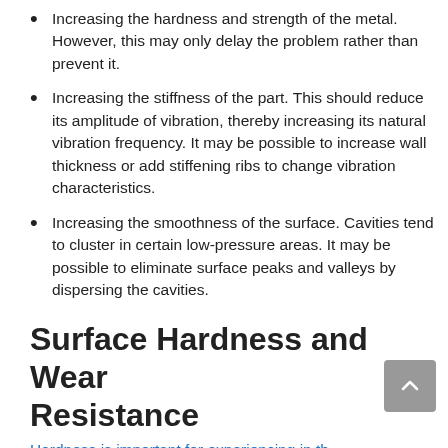Increasing the hardness and strength of the metal. However, this may only delay the problem rather than prevent it.
Increasing the stiffness of the part. This should reduce its amplitude of vibration, thereby increasing its natural vibration frequency. It may be possible to increase wall thickness or add stiffening ribs to change vibration characteristics.
Increasing the smoothness of the surface. Cavities tend to cluster in certain low-pressure areas. It may be possible to eliminate surface peaks and valleys by dispersing the cavities.
Surface Hardness and Wear Resistance
Hardness is important for…